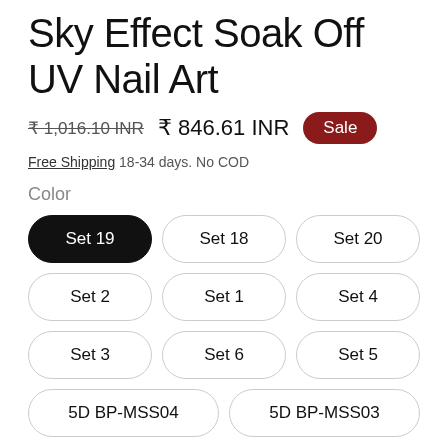Sky Effect Soak Off UV Nail Art
₹ 1,016.10 INR  ₹ 846.61 INR  Sale
Free Shipping 18-34 days. No COD
Color
Set 19 (selected)
Set 18
Set 20
Set 2
Set 1
Set 4
Set 3
Set 6
Set 5
5D BP-MSS04
5D BP-MSS03